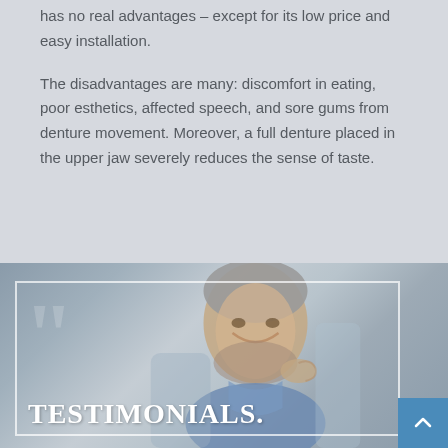has no real advantages – except for its low price and easy installation.
The disadvantages are many: discomfort in eating, poor esthetics, affected speech, and sore gums from denture movement. Moreover, a full denture placed in the upper jaw severely reduces the sense of taste.
[Figure (photo): A smiling older man with gray hair and beard, in a blue shirt, on a blurred background. Overlaid with a white border box, large quotation mark watermark, bold white 'TESTIMONIALS.' text at bottom left, and a blue scroll-to-top button at bottom right.]